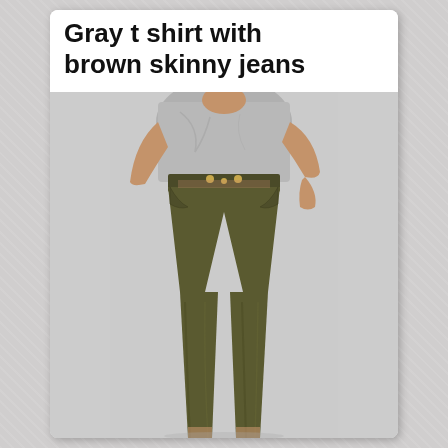Gray t shirt with brown skinny jeans
[Figure (photo): A woman wearing a gray t-shirt tucked into olive/brown skinny jeans with gold hardware buttons. The photo shows the model from waist up to below the ankles against a light gray background.]